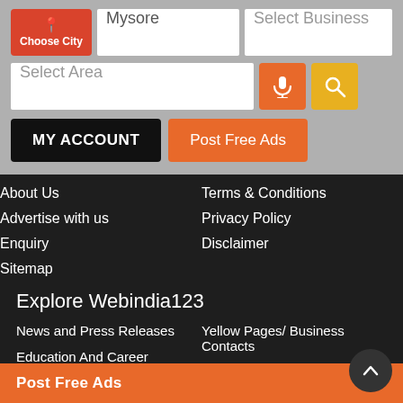[Figure (screenshot): Web app UI header with Choose City button, Mysore input, Select Business input, Select Area input, microphone button, search button, MY ACCOUNT button, Post Free Ads button]
About Us
Terms & Conditions
Advertise with us
Privacy Policy
Enquiry
Disclaimer
Sitemap
Explore Webindia123
News and Press Releases
Yellow Pages/ Business Contacts
Education And Career
Photo Gallery
Video Shows
Classified/ Personal Ads
Movie And Celebrity Events
Automobiles
Budgets and Discounts
Realestate/ Properties for sa...
Post Free Ads